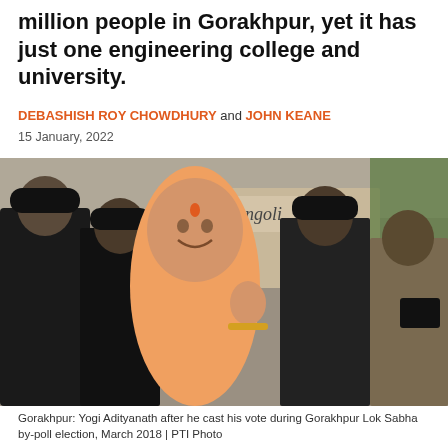million people in Gorakhpur, yet it has just one engineering college and university.
DEBASHISH ROY CHOWDHURY and JOHN KEANE
15 January, 2022
[Figure (photo): Yogi Adityanath in an orange robe smiling and waving, surrounded by security personnel in black uniforms and officers in khaki, on a street with a shop sign reading Rangoli in the background.]
Gorakhpur: Yogi Adityanath after he cast his vote during Gorakhpur Lok Sabha by-poll election, March 2018 | PTI Photo